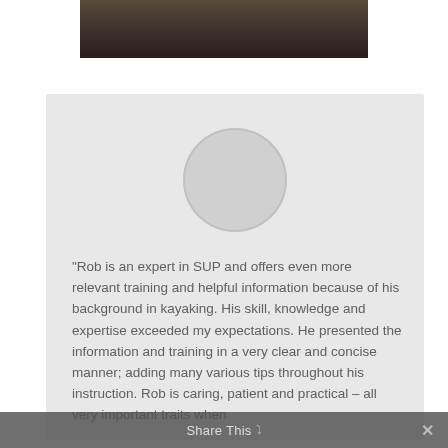[Figure (photo): Partial photo of a person with dark hair, taken outdoors on rocky ground, cropped at top of page]
[Figure (illustration): Light gray circular avatar placeholder inside a gray testimonial card background]
“Rob is an expert in SUP and offers even more relevant training and helpful information because of his background in kayaking. His skill, knowledge and expertise exceeded my expectations. He presented the information and training in a very clear and concise manner; adding many various tips throughout his instruction. Rob is caring, patient and practical – all very important traits when
Share This